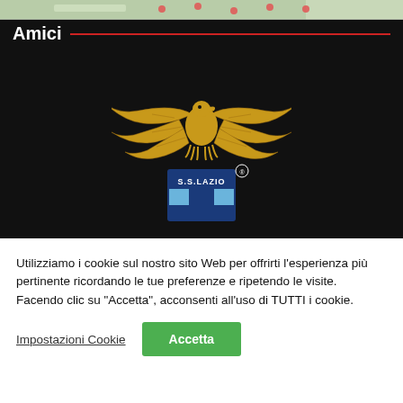[Figure (screenshot): Map strip at top of dark section]
Amici
[Figure (logo): SS Lazio eagle logo with blue and white shield and text S.S.LAZIO and registered trademark symbol]
Utilizziamo i cookie sul nostro sito Web per offrirti l'esperienza più pertinente ricordando le tue preferenze e ripetendo le visite. Facendo clic su "Accetta", acconsenti all'uso di TUTTI i cookie.
Impostazioni Cookie
Accetta